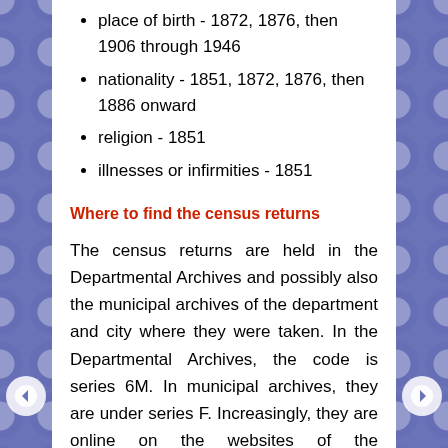place of birth - 1872, 1876, then 1906 through 1946
nationality - 1851, 1872, 1876, then 1886 onward
religion - 1851
illnesses or infirmities - 1851
Where to find the census returns
The census returns are held in the Departmental Archives and possibly also the municipal archives of the department and city where they were taken. In the Departmental Archives, the code is series 6M. In municipal archives, they are under series F. Increasingly, they are online on the websites of the Departmental Archives (check the panel to the